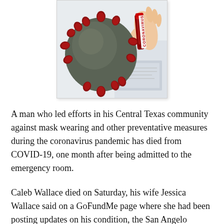[Figure (photo): Composite image showing a 3D model of the coronavirus (grey sphere with red spike proteins) alongside a hand holding a blood sample vial labeled 'CORONAVIRUS']
A man who led efforts in his Central Texas community against mask wearing and other preventative measures during the coronavirus pandemic has died from COVID-19, one month after being admitted to the emergency room.
Caleb Wallace died on Saturday, his wife Jessica Wallace said on a GoFundMe page where she had been posting updates on his condition, the San Angelo Standard-Times reported Saturday. He was 30 years old and a father of three children. His wife is pregnant with their fourth child.